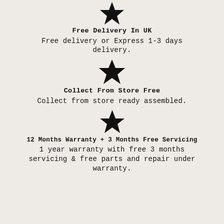[Figure (illustration): Black star icon at top]
Free Delivery In UK
Free delivery or Express 1-3 days delivery.
[Figure (illustration): Black star icon middle]
Collect From Store Free
Collect from store ready assembled.
[Figure (illustration): Black star icon bottom]
12 Months Warranty + 3 Months Free Servicing
1 year warranty with free 3 months servicing & free parts and repair under warranty.